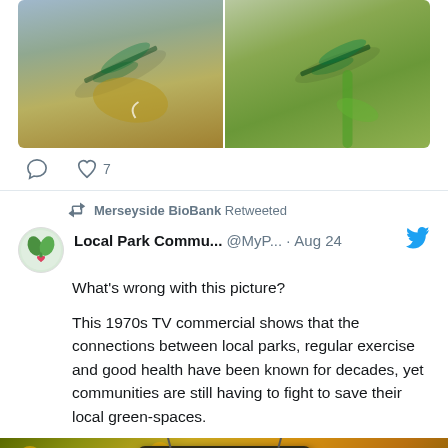[Figure (photo): Two close-up photos of a dragonfly side by side. Left photo shows dragonfly on a yellow/brown surface with blurred background. Right photo shows dragonfly on a green plant stem with green background.]
7 likes
Merseyside BioBank Retweeted
Local Park Commu... @MyP... · Aug 24
What's wrong with this picture?

This 1970s TV commercial shows that the connections between local parks, regular exercise and good health have been known for decades, yet communities are still having to fight to save their local green-spaces.
[Figure (screenshot): Thumbnail of a 1970s TV commercial showing an old television set with a retro floral background in yellow and green tones.]